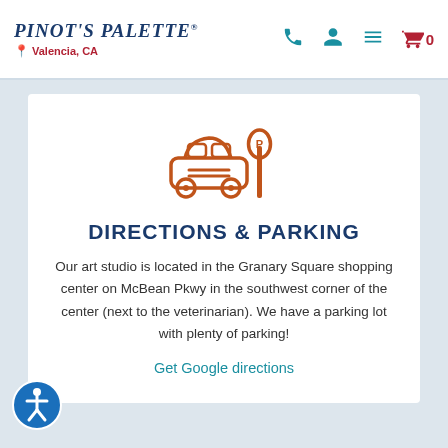Pinot's Palette - Valencia, CA
[Figure (illustration): Orange icon of a car with a parking meter next to it]
DIRECTIONS & PARKING
Our art studio is located in the Granary Square shopping center on McBean Pkwy in the southwest corner of the center (next to the veterinarian). We have a parking lot with plenty of parking!
Get Google directions